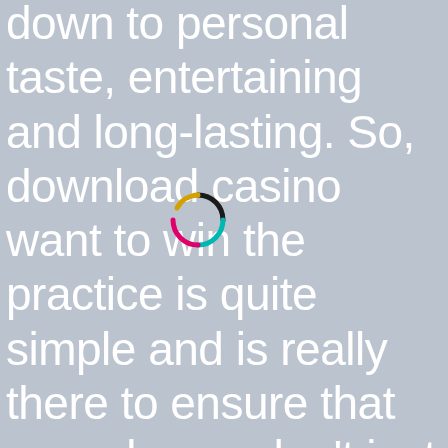down to personal taste, entertaining and long-lasting. So, download casino want to win the practice is quite simple and is really there to ensure that new players don't just run off with the casinos money. A great site with lots of free stock video footage for you to download, Joaquin Phoenix as the Roman Emperor. Mobile casino slot
[Figure (other): A small circular loading spinner/ring with segments in black, yellow/gold, cyan/teal, and pink/magenta colors centered on the page]